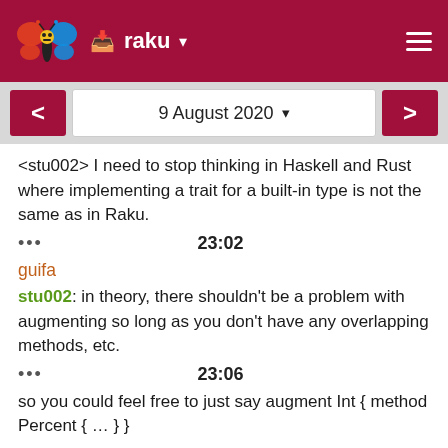raku
9 August 2020
<stu002> I need to stop thinking in Haskell and Rust where implementing a trait for a built-in type is not the same as in Raku.
••• 23:02
guifa
stu002: in theory, there shouldn't be a problem with augmenting so long as you don't have any overlapping methods, etc.
••• 23:06
so you could feel free to just say augment Int { method Percent { … } }